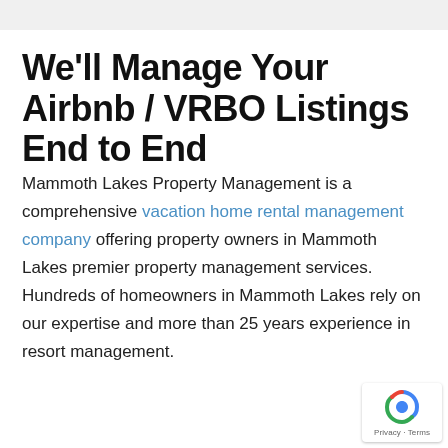We'll Manage Your Airbnb / VRBO Listings End to End
Mammoth Lakes Property Management is a comprehensive vacation home rental management company offering property owners in Mammoth Lakes premier property management services. Hundreds of homeowners in Mammoth Lakes rely on our expertise and more than 25 years experience in resort management.